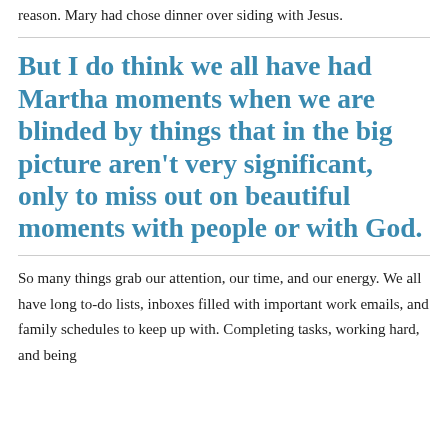reason. Mary had chose dinner over siding with Jesus.
But I do think we all have had Martha moments when we are blinded by things that in the big picture aren't very significant, only to miss out on beautiful moments with people or with God.
So many things grab our attention, our time, and our energy. We all have long to-do lists, inboxes filled with important work emails, and family schedules to keep up with. Completing tasks, working hard, and being